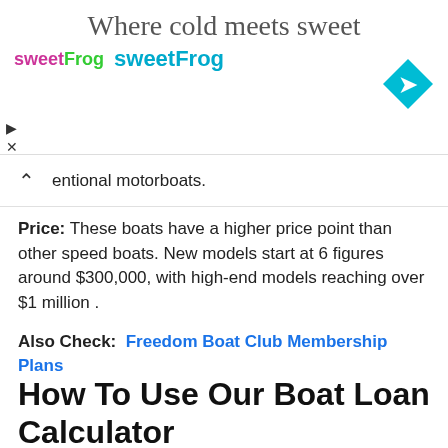[Figure (other): sweetFrog frozen yogurt advertisement banner with tagline 'Where cold meets sweet', sweetFrog logo, and a blue diamond navigation icon]
entional motorboats.
Price: These boats have a higher price point than other speed boats. New models start at 6 figures around $300,000, with high-end models reaching over $1 million .
Also Check:  Freedom Boat Club Membership Plans
How To Use Our Boat Loan Calculator
To use our boat loan calculator, enter how much you want to borrow for how long and the interest rate you expect to pay. With these inputs, the calculator will compute your